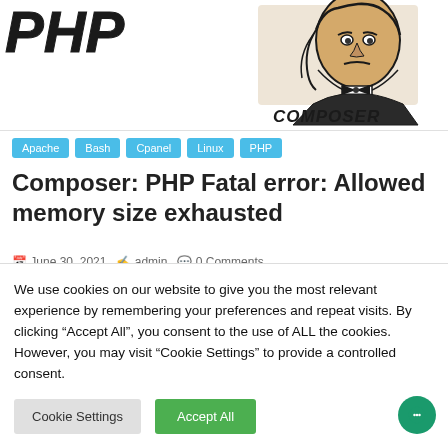[Figure (illustration): PHP logo text (stylized italic bold PHP letters) on the left and a Beethoven composer illustration with the word COMPOSER on the right, forming the header image of the blog post.]
Apache
Bash
Cpanel
Linux
PHP
Composer: PHP Fatal error: Allowed memory size exhausted
June 30, 2021   admin   0 Comments
PHP Fatal error: Allowed memory size exhausted This is a
We use cookies on our website to give you the most relevant experience by remembering your preferences and repeat visits. By clicking “Accept All”, you consent to the use of ALL the cookies. However, you may visit “Cookie Settings” to provide a controlled consent.